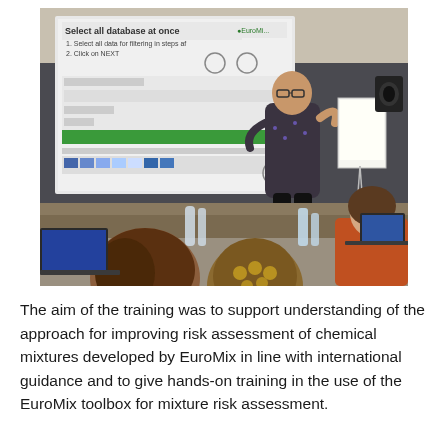[Figure (photo): A person stands at the front of a conference room presenting a software tool on a large projection screen. The screen shows 'Select all database at once' with EuroMix branding. Several attendees are seated at tables with laptops, viewing the presentation. There is a whiteboard/flipchart beside the presenter.]
The aim of the training was to support understanding of the approach for improving risk assessment of chemical mixtures developed by EuroMix in line with international guidance and to give hands-on training in the use of the EuroMix toolbox for mixture risk assessment.